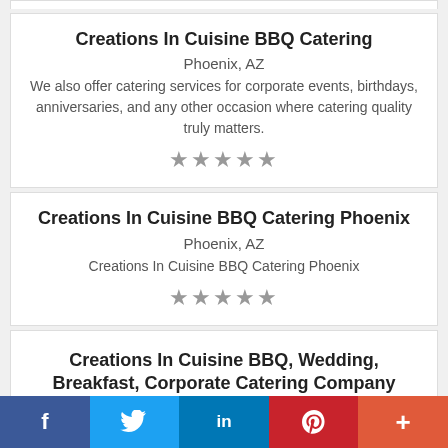Creations In Cuisine BBQ Catering
Phoenix, AZ
We also offer catering services for corporate events, birthdays, anniversaries, and any other occasion where catering quality truly matters.
★★★★★
Creations In Cuisine BBQ Catering Phoenix
Phoenix, AZ
Creations In Cuisine BBQ Catering Phoenix
★★★★★
Creations In Cuisine BBQ, Wedding, Breakfast, Corporate Catering Company
f  Twitter  in  P  +